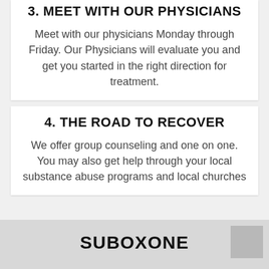3. MEET WITH OUR PHYSICIANS
Meet with our physicians Monday through Friday. Our Physicians will evaluate you and get you started in the right direction for treatment.
4. THE ROAD TO RECOVER
We offer group counseling and one on one. You may also get help through your local substance abuse programs and local churches
SUBOXONE